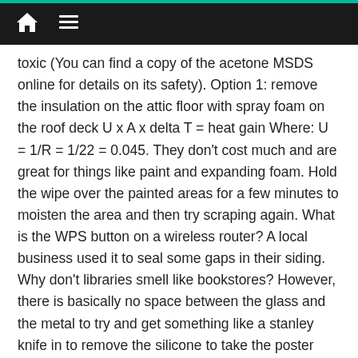Home / Menu navigation bar
toxic (You can find a copy of the acetone MSDS online for details on its safety). Option 1: remove the insulation on the attic floor with spray foam on the roof deck U x A x delta T = heat gain Where: U = 1/R = 1/22 = 0.045. They don't cost much and are great for things like paint and expanding foam. Hold the wipe over the painted areas for a few minutes to moisten the area and then try scraping again. What is the WPS button on a wireless router? A local business used it to seal some gaps in their siding. Why don't libraries smell like bookstores? However, there is basically no space between the glass and the metal to try and get something like a stanley knife in to remove the silicone to take the poster holder off the glass. Most adhesive residue can be removed from glass using acetone, found in most nail polish removers. If you can find the ones with the rounded ends (try the Stanley website) then that'll make sure you